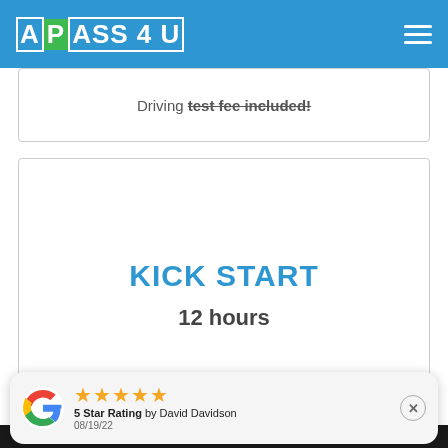APASS 4 U
Driving test fee included!
KICK START
12 hours
We use cookies to ensure that we give you the best experience on
5 Star Rating by David Davidson 08/19/22